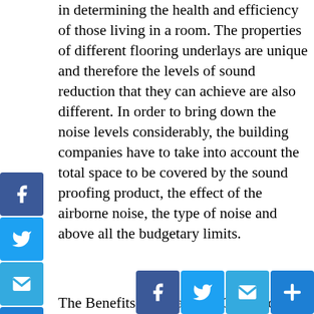in determining the health and efficiency of those living in a room. The properties of different flooring underlays are unique and therefore the levels of sound reduction that they can achieve are also different. In order to bring down the noise levels considerably, the building companies have to take into account the total space to be covered by the sound proofing product, the effect of the airborne noise, the type of noise and above all the budgetary limits.
The Benefits Compared to Cork Flooring
Comparing the benefits of using acoustic underlay for flooring with that of cork flooring, the underlays cause only a minimum raise in floor level unlike cork flooring, which at st...
[Figure (other): Social media sharing buttons on the left side: Facebook (blue with f icon), Twitter (light blue with bird icon), Email (blue with envelope icon), Share/More (blue with plus icon)]
[Figure (other): Social media sharing buttons on the bottom right: Facebook, Twitter, Email, Share/More]